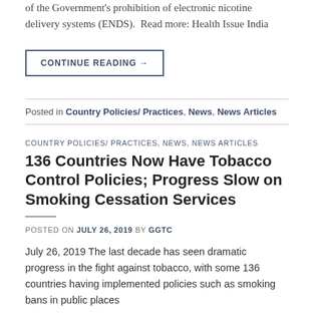of the Government's prohibition of electronic nicotine delivery systems (ENDS).  Read more: Health Issue India
CONTINUE READING →
Posted in Country Policies/ Practices, News, News Articles
COUNTRY POLICIES/ PRACTICES, NEWS, NEWS ARTICLES
136 Countries Now Have Tobacco Control Policies; Progress Slow on Smoking Cessation Services
POSTED ON JULY 26, 2019 BY GGTC
July 26, 2019 The last decade has seen dramatic progress in the fight against tobacco, with some 136 countries having implemented policies such as smoking bans in public places